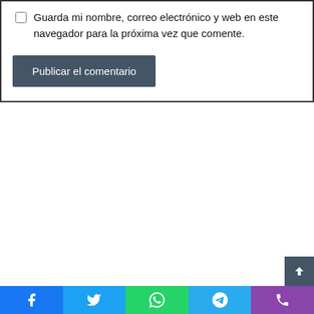Guarda mi nombre, correo electrónico y web en este navegador para la próxima vez que comente.
Publicar el comentario
[Figure (other): Social media sharing bar with Facebook, Twitter, WhatsApp, Telegram, and phone icons]